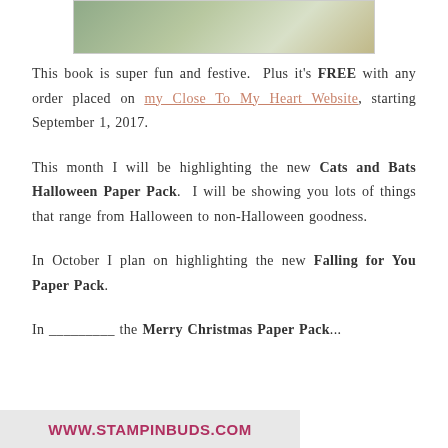[Figure (screenshot): Banner image showing Christmas/holiday scene with green trees and decorations at top, and www.stampinbuds.com URL text in dark pink on light gray background below]
This book is super fun and festive.  Plus it's FREE with any order placed on my Close To My Heart Website, starting September 1, 2017.
This month I will be highlighting the new Cats and Bats Halloween Paper Pack.  I will be showing you lots of things that range from Halloween to non-Halloween goodness.
In October I plan on highlighting the new Falling for You Paper Pack.
In the _______ the Merry Christmas Paper Pack...